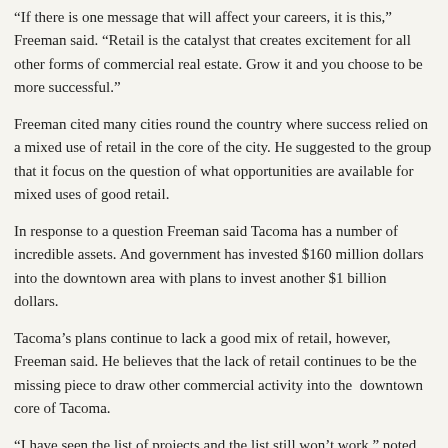“If there is one message that will affect your careers, it is this,” Freeman said. “Retail is the catalyst that creates excitement for all other forms of commercial real estate. Grow it and you choose to be more successful.”
Freeman cited many cities round the country where success relied on a mixed use of retail in the core of the city. He suggested to the group that it focus on the question of what opportunities are available for mixed uses of good retail.
In response to a question Freeman said Tacoma has a number of incredible assets. And government has invested $160 million dollars into the downtown area with plans to invest another $1 billion dollars.
Tacoma’s plans continue to lack a good mix of retail, however, Freeman said. He believes that the lack of retail continues to be the missing piece to draw other commercial activity into the downtown core of Tacoma.
“I have seen the list of projects and the list still won’t work,” noted Freeman
Posted in Business, Informational, The Real News
(comments are closed).